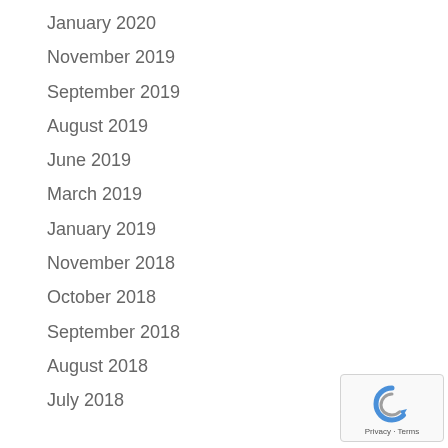January 2020
November 2019
September 2019
August 2019
June 2019
March 2019
January 2019
November 2018
October 2018
September 2018
August 2018
July 2018
[Figure (logo): Google reCAPTCHA badge with Privacy and Terms links]